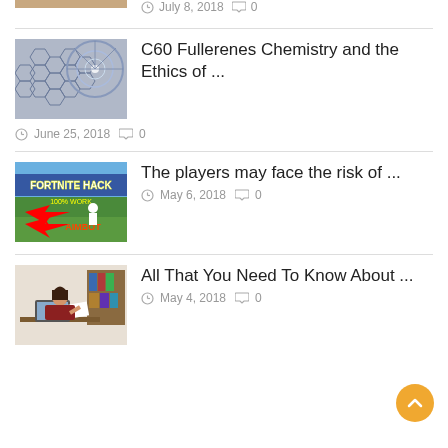[Figure (photo): Partial thumbnail of a blog post at top, cropped]
July 8, 2018   0
[Figure (photo): Carbon nanotube / C60 fullerene structure image]
C60 Fullerenes Chemistry and the Ethics of ...
June 25, 2018   0
[Figure (photo): Fortnite Hack thumbnail image]
The players may face the risk of ...
May 6, 2018   0
[Figure (photo): Woman studying at desk with laptop and papers]
All That You Need To Know About ...
May 4, 2018   0